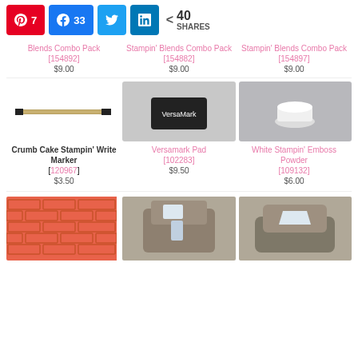[Figure (infographic): Social sharing bar with Pinterest (7), Facebook (33), Twitter, LinkedIn buttons and 40 total shares]
Blends Combo Pack [154892] $9.00
Stampin' Blends Combo Pack [154882] $9.00
Stampin' Blends Combo Pack [154897] $9.00
[Figure (photo): Crumb Cake Stampin' Write Marker product photo]
[Figure (photo): Versamark Pad product photo]
[Figure (photo): White Stampin' Emboss Powder product photo]
Crumb Cake Stampin' Write Marker [120967] $3.50
Versamark Pad [102283] $9.50
White Stampin' Emboss Powder [109132] $6.00
[Figure (photo): Brick pattern product photo]
[Figure (photo): Punch tool product photo]
[Figure (photo): Punch tool product photo]